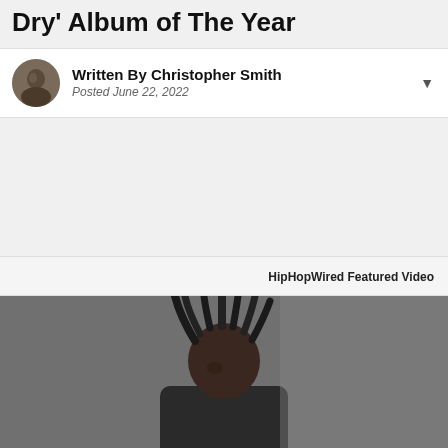Dry' Album of The Year
Written By Christopher Smith
Posted June 22, 2022
HipHopWired Featured Video
[Figure (photo): Close-up photo of a person with dreadlocks, grey background]
• • •